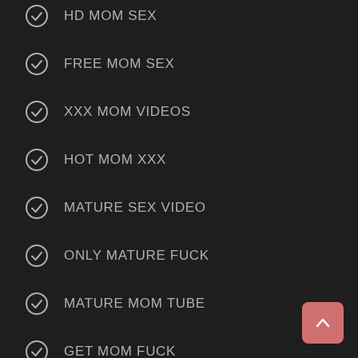HD MOM SEX
FREE MOM SEX
XXX MOM VIDEOS
HOT MOM XXX
MATURE SEX VIDEO
ONLY MATURE FUCK
MATURE MOM TUBE
GET MOM FUCK
MATURE MOM SEX
LOOK MATURE MOVIES